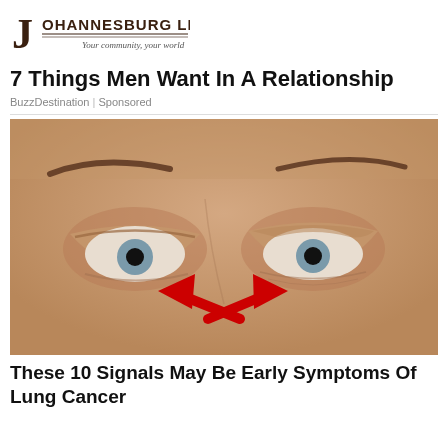[Figure (logo): Johannesburg Life logo — large stylized J with 'JOHANNESBURG LIFE' text and tagline 'Your community, your world']
7 Things Men Want In A Relationship
BuzzDestination | Sponsored
[Figure (photo): Close-up photo of a man's eyes with heavy, drooping eyelids. Two red arrows point inward toward the inner corners of each eye, highlighting drooping or puffiness as symptom indicators.]
These 10 Signals May Be Early Symptoms Of Lung Cancer